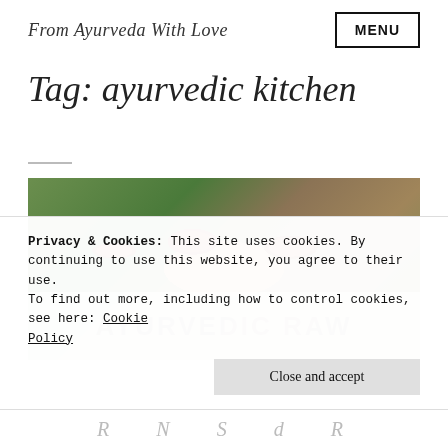From Ayurveda With Love
Tag: ayurvedic kitchen
[Figure (photo): Close-up photo of cut figs with chocolate drizzle and sliced almonds on a wooden board, with text overlay 'AYURVEDIC RAW']
Privacy & Cookies: This site uses cookies. By continuing to use this website, you agree to their use.
To find out more, including how to control cookies, see here: Cookie Policy
Close and accept